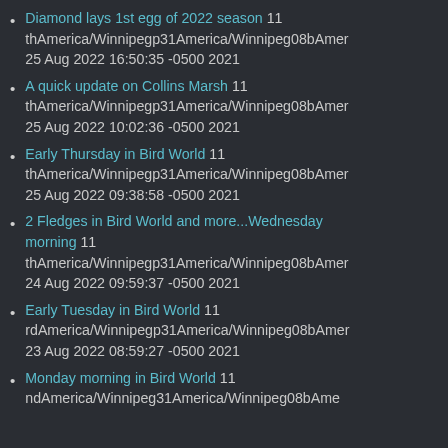Diamond lays 1st egg of 2022 season 11 thAmerica/Winnipegp31America/Winnipeg08bAmer 25 Aug 2022 16:50:35 -0500 2021
A quick update on Collins Marsh 11 thAmerica/Winnipegp31America/Winnipeg08bAmer 25 Aug 2022 10:02:36 -0500 2021
Early Thursday in Bird World 11 thAmerica/Winnipegp31America/Winnipeg08bAmer 25 Aug 2022 09:38:58 -0500 2021
2 Fledges in Bird World and more...Wednesday morning 11 thAmerica/Winnipegp31America/Winnipeg08bAmer 24 Aug 2022 09:59:37 -0500 2021
Early Tuesday in Bird World 11 rdAmerica/Winnipegp31America/Winnipeg08bAmer 23 Aug 2022 08:59:27 -0500 2021
Monday morning in Bird World 11 ndAmerica/Winnipeg08bAme